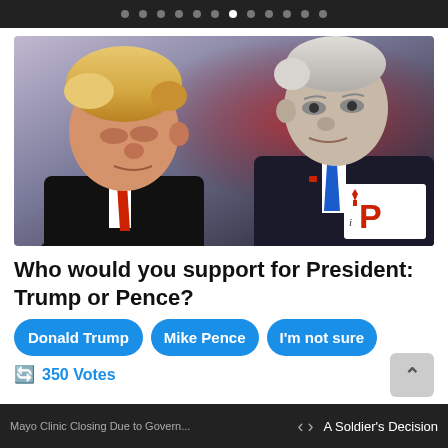Navigation dots carousel indicator
[Figure (photo): Photo of Donald Trump and Mike Pence facing each other, with an iP (Independent Political) logo watermark in the bottom right corner]
Who would you support for President: Trump or Pence?
Donald Trump
Mike Pence
I'm not sure
350 Votes
Mayo Clinic Closing Due to Govern... < > A Soldier's Decision